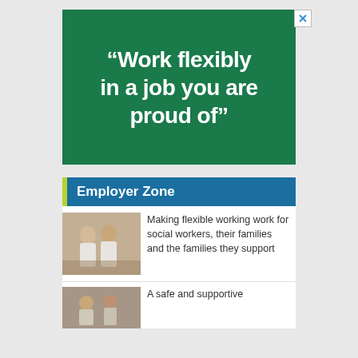[Figure (other): Green advertisement banner with large white bold text reading: "Work flexibly in a job you are proud of"]
Employer Zone
[Figure (photo): Two men in white shirts standing side by side against a wooden wall background]
Making flexible working work for social workers, their families and the families they support
[Figure (photo): Partial photo of people in an office or indoor setting]
A safe and supportive